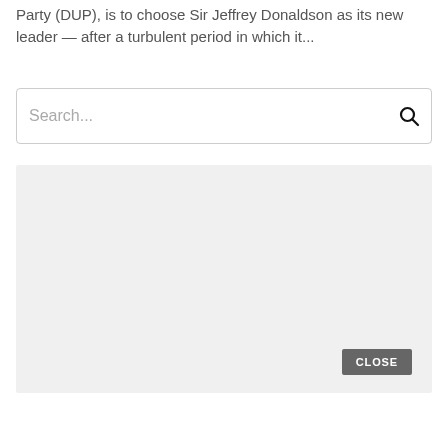Party (DUP), is to choose Sir Jeffrey Donaldson as its new leader — after a turbulent period in which it...
[Figure (screenshot): Search bar UI element with placeholder text 'Search...' and a search icon on the right]
[Figure (other): Light grey advertisement or content placeholder box with a dark grey 'CLOSE' button in the bottom-right corner]